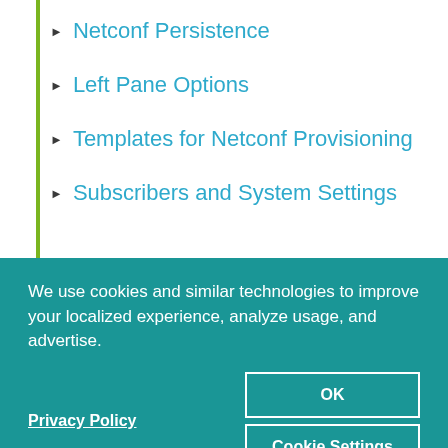Netconf Persistence
Left Pane Options
Templates for Netconf Provisioning
Subscribers and System Settings
← PREVIOUS
Understanding the
NEXT →
Provision Diverse LSP
We use cookies and similar technologies to improve your localized experience, analyze usage, and advertise.
Privacy Policy
OK
Cookie Settings